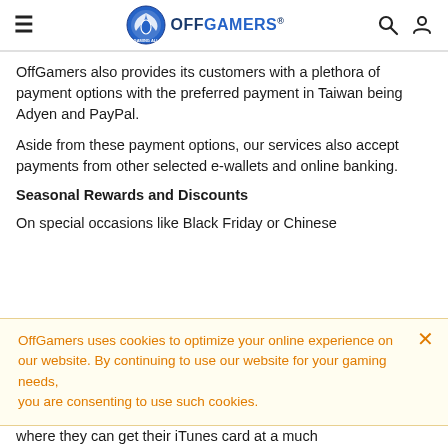OffGamers
OffGamers also provides its customers with a plethora of payment options with the preferred payment in Taiwan being Adyen and PayPal.
Aside from these payment options, our services also accept payments from other selected e-wallets and online banking.
Seasonal Rewards and Discounts
On special occasions like Black Friday or Chinese
OffGamers uses cookies to optimize your online experience on our website. By continuing to use our website for your gaming needs, you are consenting to use such cookies.
where they can get their iTunes card at a much